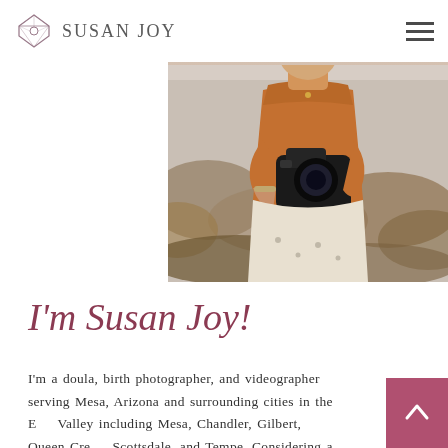SUSAN JOY
[Figure (photo): Woman in orange turtleneck holding a camera, smiling, outdoors in a desert/scrubland setting]
I'm Susan Joy!
I'm a doula, birth photographer, and videographer serving Mesa, Arizona and surrounding cities in the East Valley including Mesa, Chandler, Gilbert, Queen Creek, Scottsdale, and Tempe. Considering a doula and/or birth